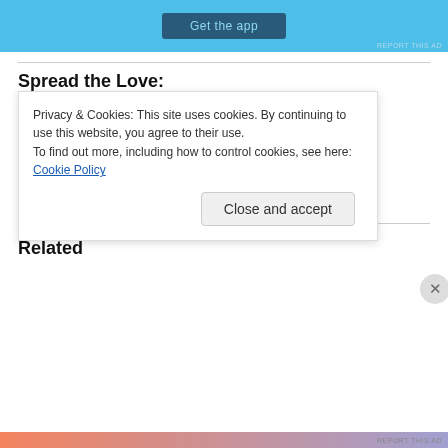[Figure (screenshot): App advertisement banner with 'Get the app' button on blue background]
Spread the Love:
[Figure (infographic): Row of social sharing icons: Twitter, Facebook, Reddit, Pinterest, Email, Tumblr]
Like
Be the first to like this.
Related
Privacy & Cookies: This site uses cookies. By continuing to use this website, you agree to their use.
To find out more, including how to control cookies, see here: Cookie Policy
Close and accept